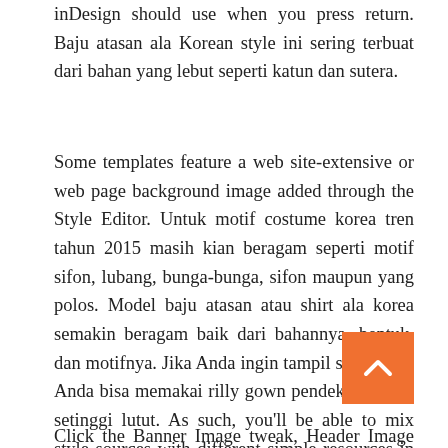inDesign should use when you press return. Baju atasan ala Korean style ini sering terbuat dari bahan yang lebut seperti katun dan sutera.
Some templates feature a web site-extensive or web page background image added through the Style Editor. Untuk motif costume korea tren tahun 2015 masih kian beragam seperti motif sifon, lubang, bunga-bunga, sifon maupun yang polos. Model baju atasan atau shirt ala korea semakin beragam baik dari bahannya, bentuk, dan motifnya. Jika Anda ingin tampil sederhana, Anda bisa memakai rilly gown pendek kira-kira setinggi lutut. As such, you'll be able to mix style sources with different simple resources in the one XML file, underneath one component. Many style changes are related to dimension, like padding, spacing, width, and borders.
Click the Banner Image tweak, Header Image tweak, or the